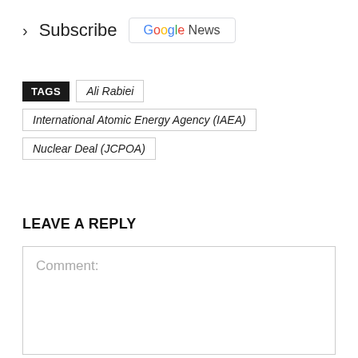› Subscribe  Google News
TAGS  Ali Rabiei  International Atomic Energy Agency (IAEA)  Nuclear Deal (JCPOA)
LEAVE A REPLY
Comment: